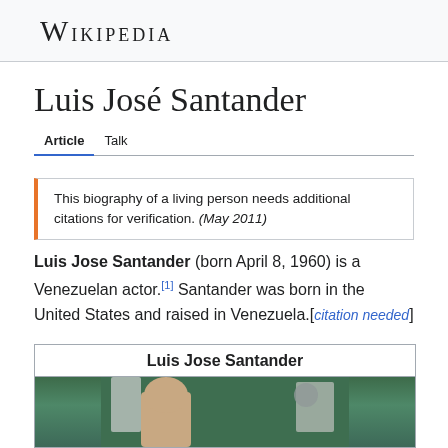Wikipedia
Luis José Santander
Article   Talk
This biography of a living person needs additional citations for verification. (May 2011)
Luis Jose Santander (born April 8, 1960) is a Venezuelan actor.[1] Santander was born in the United States and raised in Venezuela.[citation needed]
| Luis Jose Santander |
| --- |
| [photo] |